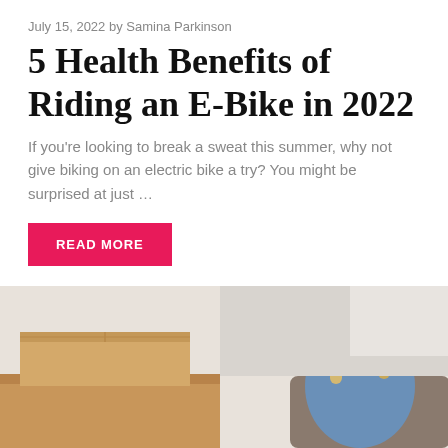July 15, 2022 by Samina Parkinson
5 Health Benefits of Riding an E-Bike in 2022
If you’re looking to break a sweat this summer, why not give biking on an electric bike a try? You might be surprised at just …
READ MORE
Health, Tips
[Figure (photo): Woman with blonde hair sitting among cardboard moving boxes, resting chin on hand thoughtfully, wearing a blue denim jacket, against a light background]